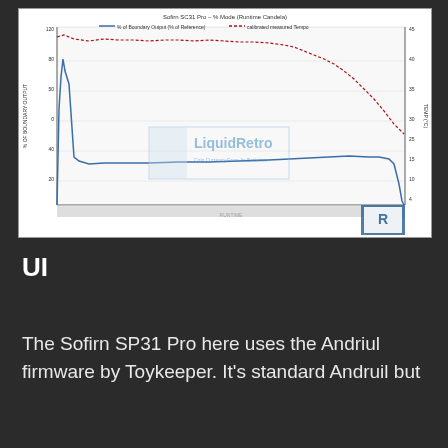[Figure (continuous-plot): Dual-axis line chart showing % of Boundary Output (Blue series, left y-axis, 0-120%) and calibrated measured Tempo (Red/dashed series, right y-axis ~4-45) over runtime (x-axis). The red dashed line starts high around 40-42 and gradually declines to ~22 by end of runtime. The blue solid line starts near 0, spikes briefly at start, then stabilizes around 20 before declining sharply at end of runtime. LiquidRetro watermark visible in center and bottom-right corner.]
UI
The Sofirn SP31 Pro here uses the Andriul firmware by Toykeeper. It's standard Andruil but